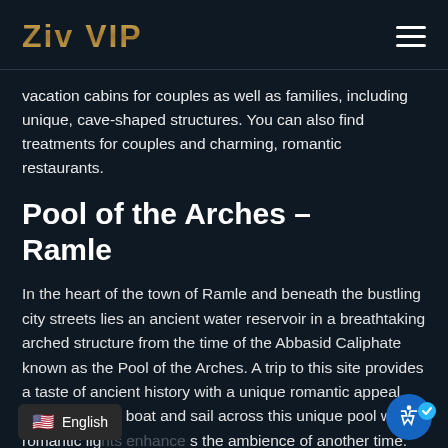Ziv VIP
vacation cabins for couples as well as families, including unique, cave-shaped structures. You can also find treatments for couples and charming, romantic restaurants.
Pool of the Arches – Ramle
In the heart of the town of Ramle and beneath the bustling city streets lies an ancient water reservoir in a breathtaking arched structure from the time of the Abbasid Caliphate known as the Pool of the Arches. A trip to this site provides a taste of ancient history with a unique romantic appeal. You can rent a boat and sail across this unique pool where romantic lights enhance the ambience of another time. To make the experience even more special, bring along